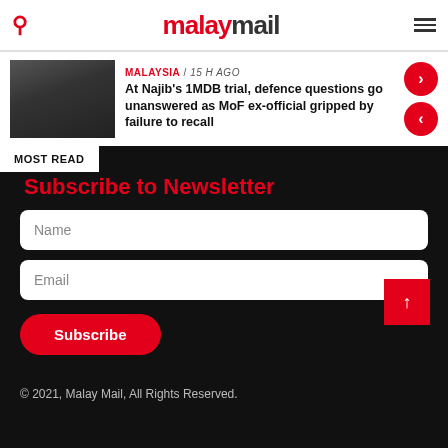malaymail
MALAYSIA / 15 h ago
At Najib's 1MDB trial, defence questions go unanswered as MoF ex-official gripped by failure to recall
MOST READ
Subscribe to Newsletter
Name
Email
Subscribe
© 2021, Malay Mail, All Rights Reserved.